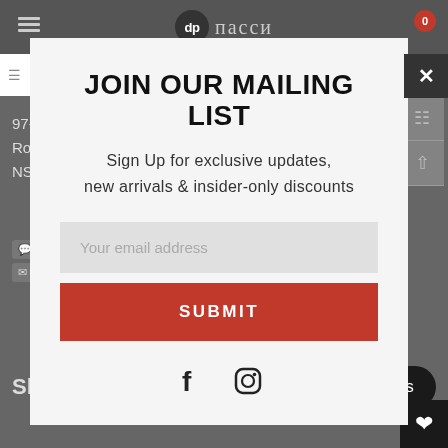[Figure (screenshot): Greyed-out e-commerce website background showing navigation header with DP/Dipacci logo, filters bar, address (97-99 Chapel St, Roselands, NSW 2196), phone (02) 9758 6760, email support@dipacci.com.au, and Shop By section]
JOIN OUR MAILING LIST
Sign Up for exclusive updates, new arrivals & insider-only discounts
Your email address
SUBMIT
[Figure (logo): Facebook and Instagram social media icons]
Chat with us